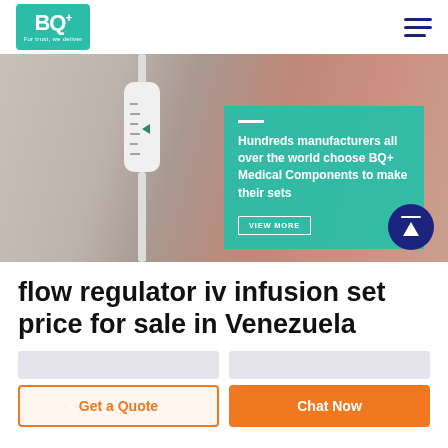BQ+ For trust, we deliver
[Figure (photo): Close-up photo of a flow regulator IV infusion set device (white cylindrical drip chamber with measurement markings) with blurred red background, overlaid with a teal/green marketing box]
Hundreds manufacturers all over the world choose BQ+ Medical Components to make their sets
VIEW MORE
flow regulator iv infusion set price for sale in Venezuela
Get a Quote
Chat Now